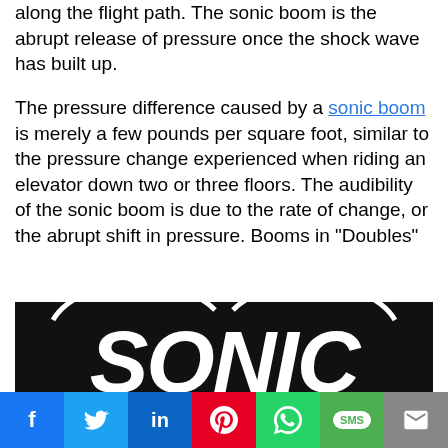along the flight path. The sonic boom is the abrupt release of pressure once the shock wave has built up.

The pressure difference caused by a sonic boom is merely a few pounds per square foot, similar to the pressure change experienced when riding an elevator down two or three floors. The audibility of the sonic boom is due to the rate of change, or the abrupt shift in pressure. Booms in “Doubles”
[Figure (logo): Black background with large white bold italic text reading SONIC]
Social share bar with Facebook, Twitter, LinkedIn, Pinterest, WhatsApp, SMS, Email buttons